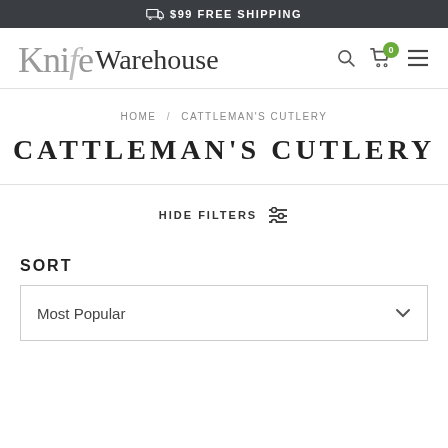$99 FREE SHIPPING
[Figure (logo): Knife Warehouse logo with search, cart (0 items), and hamburger menu icons]
HOME / CATTLEMAN'S CUTLERY
CATTLEMAN'S CUTLERY
HIDE FILTERS
SORT
Most Popular